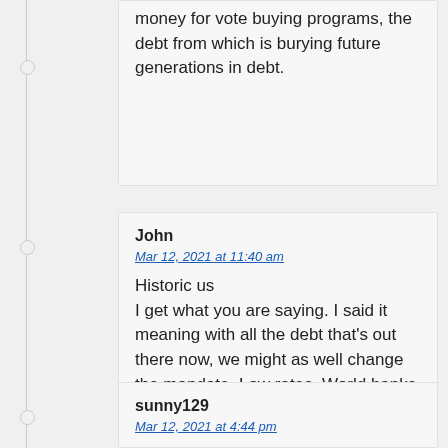money for vote buying programs, the debt from which is burying future generations in debt.
John
Mar 12, 2021 at 11:40 am
Historic us
I get what you are saying. I said it meaning with all the debt that’s out there now, we might as well change the mandate. Low rates. World banks I believe will be buying our treasuries like the Euro.
sunny129
Mar 12, 2021 at 4:44 pm